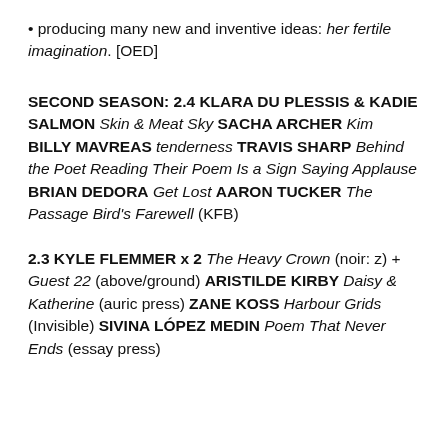• producing many new and inventive ideas: her fertile imagination. [OED]
SECOND SEASON: 2.4 KLARA DU PLESSIS & KADIE SALMON Skin & Meat Sky SACHA ARCHER Kim BILLY MAVREAS tenderness TRAVIS SHARP Behind the Poet Reading Their Poem Is a Sign Saying Applause BRIAN DEDORA Get Lost AARON TUCKER The Passage Bird's Farewell (KFB)
2.3 KYLE FLEMMER x 2 The Heavy Crown (noir: z) + Guest 22 (above/ground) ARISTILDE KIRBY Daisy & Katherine (auric press) ZANE KOSS Harbour Grids (Invisible) SIVINA LÓPEZ MEDIN Poem That Never Ends (essay press)